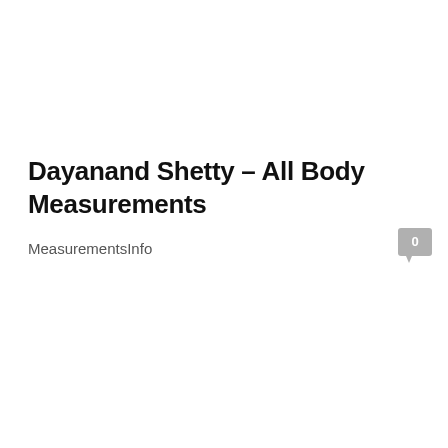Dayanand Shetty – All Body Measurements
MeasurementsInfo
[Figure (other): Speech bubble / comment count icon showing '0']